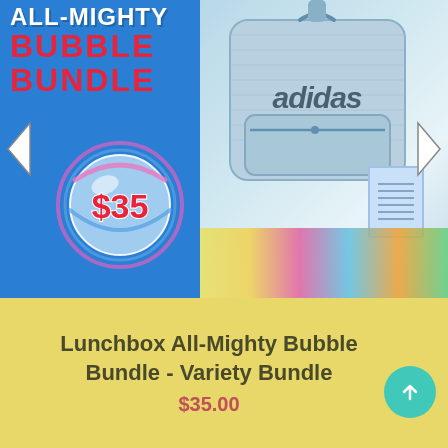[Figure (photo): Product listing image showing Adidas lunchbox backpack with 'All-Mighty Bubble Bundle' text on blue background, $35 price bubble, stickers and cards scattered below the bag, 'NOTES' label top right, navigation arrows on sides.]
Lunchbox All-Mighty Bubble Bundle - Variety Bundle
$35.00